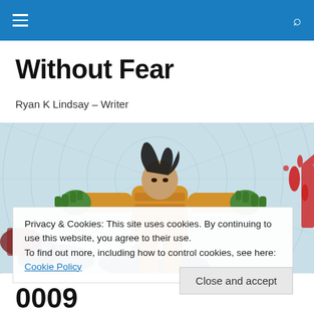Without Fear – Ryan K Lindsay – Writer
Without Fear
Ryan K Lindsay – Writer
[Figure (illustration): Comic book illustration showing a muscular figure in an orange armored suit with arms outstretched, green gloves, standing over fallen opponents wearing blue helmets. Background has a light blue circular grid pattern. Red splatter visible on right side.]
Privacy & Cookies: This site uses cookies. By continuing to use this website, you agree to their use.
To find out more, including how to control cookies, see here: Cookie Policy
Close and accept
0009